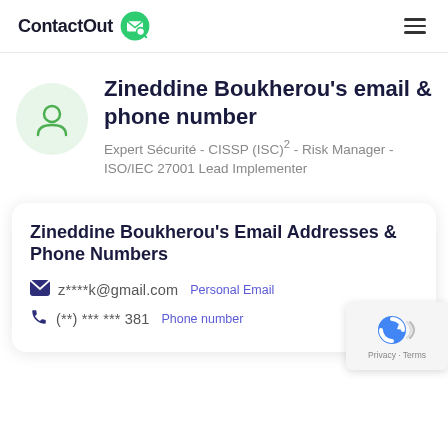ContactOut
Zineddine Boukherou's email & phone number
Expert Sécurité - CISSP (ISC)² - Risk Manager - ISO/IEC 27001 Lead Implementer
Zineddine Boukherou's Email Addresses & Phone Numbers
z****k@gmail.com  Personal Email
(**) *** *** 381  Phone number